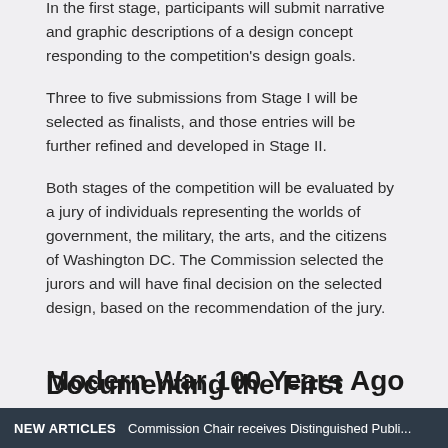In the first stage, participants will submit narrative and graphic descriptions of a design concept responding to the competition's design goals.
Three to five submissions from Stage I will be selected as finalists, and those entries will be further refined and developed in Stage II.
Both stages of the competition will be evaluated by a jury of individuals representing the worlds of government, the military, the arts, and the citizens of Washington DC. The Commission selected the jurors and will have final decision on the selected design, based on the recommendation of the jury.
Documenting the First Modern War 100 Years Ago
NEW ARTICLES   Commission Chair receives Distinguished Publi...